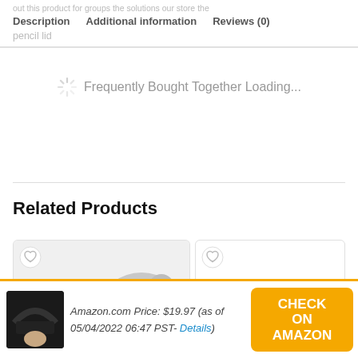Description   Additional information   Reviews (0)
Frequently Bought Together Loading...
Related Products
[Figure (photo): Product image of a Canon DSLR camera with lens accessories shown in bottom-left card area]
[Figure (photo): Second product card partially visible on the right side, showing a heart/wishlist icon]
Amazon.com Price: $19.97 (as of 05/04/2022 06:47 PST- Details)